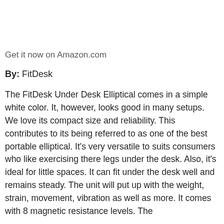Get it now on Amazon.com
By: FitDesk
The FitDesk Under Desk Elliptical comes in a simple white color. It, however, looks good in many setups. We love its compact size and reliability. This contributes to its being referred to as one of the best portable elliptical. It's very versatile to suits consumers who like exercising there legs under the desk. Also, it's ideal for little spaces. It can fit under the desk well and remains steady. The unit will put up with the weight, strain, movement, vibration as well as more. It comes with 8 magnetic resistance levels. The